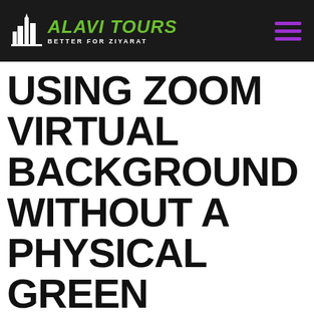ALAVI TOURS — BETTER FOR ZIYARAT
USING ZOOM VIRTUAL BACKGROUND WITHOUT A PHYSICAL GREEN SCREEN: ACADEMIC TECHNOLOGY TRAINING.